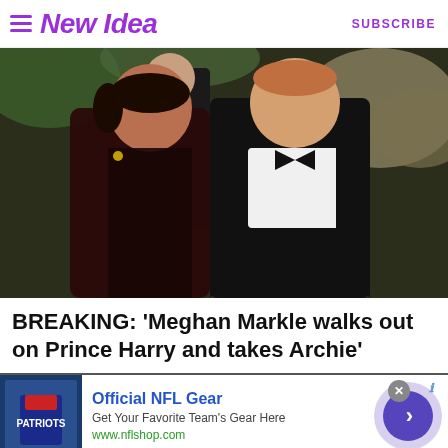New Idea | SUBSCRIBE
[Figure (photo): Meghan Markle and Prince Harry dressed in formal black attire at an event, with a security figure visible in the background]
BREAKING: 'Meghan Markle walks out on Prince Harry and takes Archie'
[Figure (infographic): Advertisement banner for Official NFL Gear showing a Patriots jersey, text 'Get Your Favorite Team's Gear Here', URL www.nflshop.com, with a purple arrow button, close button, and info icon]